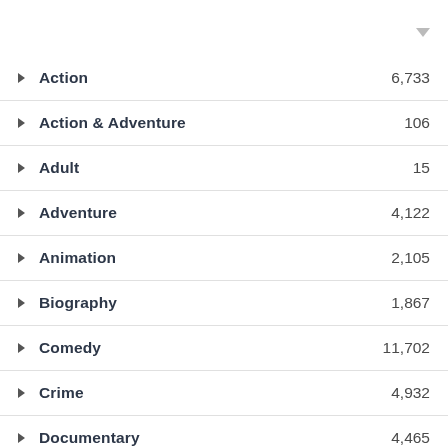Action — 6,733
Action & Adventure — 106
Adult — 15
Adventure — 4,122
Animation — 2,105
Biography — 1,867
Comedy — 11,702
Crime — 4,932
Documentary — 4,465